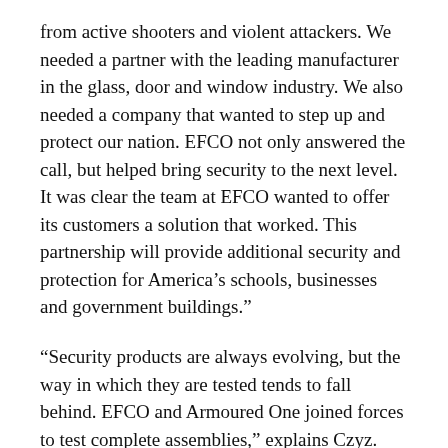from active shooters and violent attackers. We needed a partner with the leading manufacturer in the glass, door and window industry. We also needed a company that wanted to step up and protect our nation. EFCO not only answered the call, but helped bring security to the next level. It was clear the team at EFCO wanted to offer its customers a solution that worked. This partnership will provide additional security and protection for America’s schools, businesses and government buildings.”
“Security products are always evolving, but the way in which they are tested tends to fall behind. EFCO and Armoured One joined forces to test complete assemblies,” explains Czyz. “The product is only as strong as the weakest component of the total assembly. The goal is to slow down attackers, giving the people inside